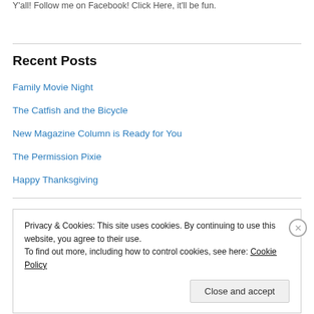Y'all! Follow me on Facebook! Click Here, it'll be fun.
Recent Posts
Family Movie Night
The Catfish and the Bicycle
New Magazine Column is Ready for You
The Permission Pixie
Happy Thanksgiving
Privacy & Cookies: This site uses cookies. By continuing to use this website, you agree to their use.
To find out more, including how to control cookies, see here: Cookie Policy
Close and accept